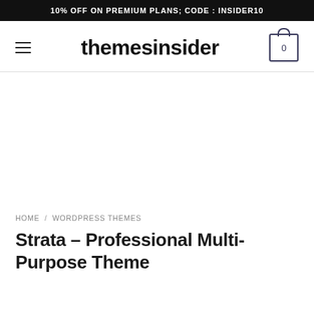10% OFF ON PREMIUM PLANS; CODE : INSIDER10
themesinsider
HOME / WORDPRESS THEMES
Strata – Professional Multi-Purpose Theme